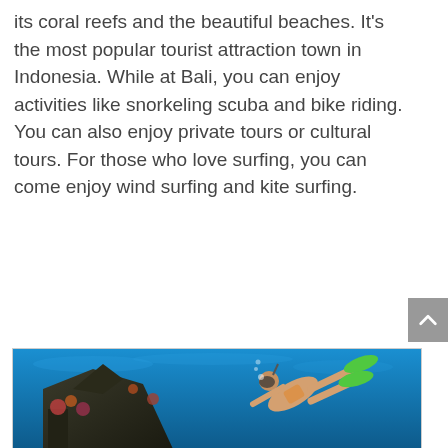its coral reefs and the beautiful beaches. It's the most popular tourist attraction town in Indonesia. While at Bali, you can enjoy activities like snorkeling scuba and bike riding. You can also enjoy private tours or cultural tours. For those who love surfing, you can come enjoy wind surfing and kite surfing.
[Figure (photo): Underwater photo showing a scuba diver swimming near a coral reef or shipwreck in clear blue water, wearing green fins.]